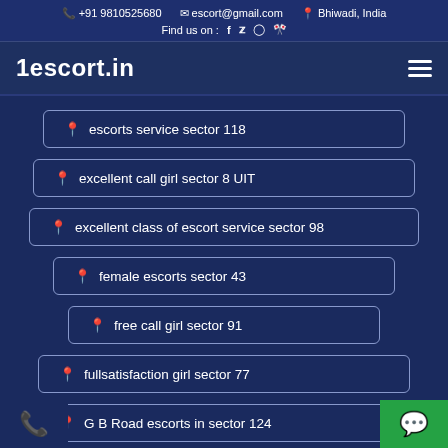+91 9810525680  escort@gmail.com  Bhiwadi, India  Find us on : f tw ig yt
1escort.in
escorts service sector 118
excellent call girl sector 8 UIT
excellent class of escort service sector 98
female escorts sector 43
free call girl sector 91
fullsatisfaction girl sector 77
G B Road escorts in sector 124